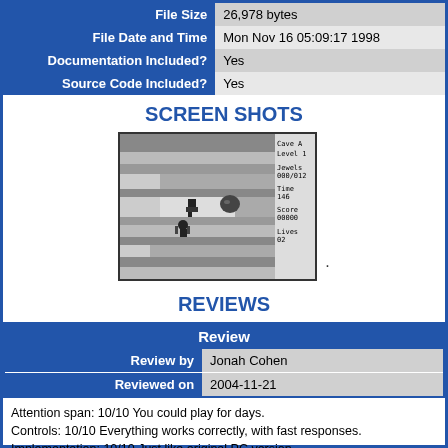|  |  |
| --- | --- |
| File Size | 26,978 bytes |
| File Date and Time | Mon Nov 16 05:09:17 1998 |
| Documentation Included? | Yes |
| Source Code Included? | Yes |
SCREEN SHOTS
[Figure (screenshot): Black and white game screenshot showing a cave level with a character, rocks, and a sidebar displaying Cave A, Level 1, Jewels 000/012, Time 146, Score 00000, Lives 02]
REVIEWS
|  |  |
| --- | --- |
| Review |  |
| Review by | Jonah Cohen |
| Reviewed on | 2004-11-21 |
Attention span: 10/10 You could play for days.
Controls: 10/10 Everything works correctly, with fast responses.
Implementation: 10/10 Just like original PC version.
Overall: 10/10 This game is amazing!
Boulderdash is a game that has been around for a long time. One